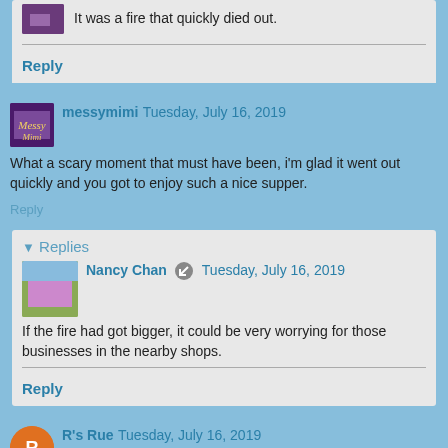It was a fire that quickly died out.
Reply
messymimi Tuesday, July 16, 2019
What a scary moment that must have been, i'm glad it went out quickly and you got to enjoy such a nice supper.
Reply
Replies
Nancy Chan Tuesday, July 16, 2019
If the fire had got bigger, it could be very worrying for those businesses in the nearby shops.
Reply
R's Rue Tuesday, July 16, 2019